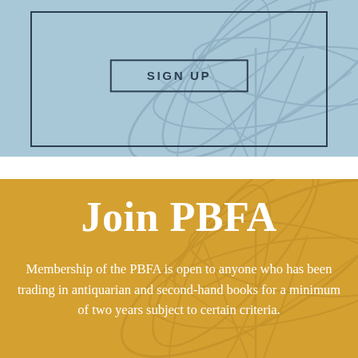[Figure (other): Light blue banner section with decorative leaf/palm watermark background and a bordered rectangle containing the text SIGN UP]
Join PBFA
Membership of the PBFA is open to anyone who has been trading in antiquarian and second-hand books for a minimum of two years subject to certain criteria.